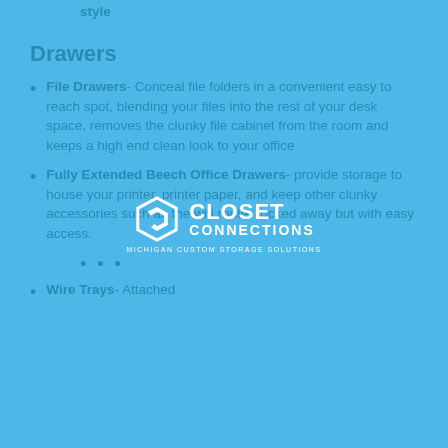Drawers
File Drawers- Conceal file folders in a convenient easy to reach spot, blending your files into the rest of your desk space, removes the clunky file cabinet from the room and keeps a high end clean look to your office
Fully Extended Beech Office Drawers- provide storage to house your printer, printer paper, and keep other clunky accessories such as the wifi router tucked away but with easy access.
Wire Trays- Attached
[Figure (logo): Closet Connections Michigan Custom Storage Solutions logo watermark overlay]